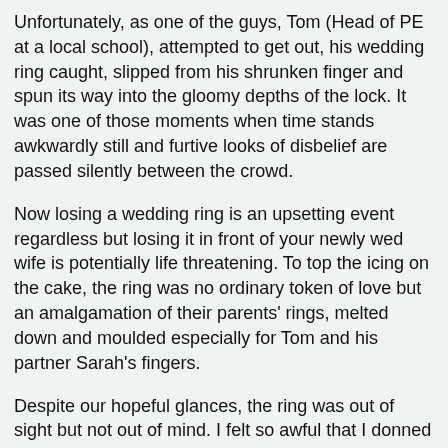Unfortunately, as one of the guys, Tom (Head of PE at a local school), attempted to get out, his wedding ring caught, slipped from his shrunken finger and spun its way into the gloomy depths of the lock. It was one of those moments when time stands awkwardly still and furtive looks of disbelief are passed silently between the crowd.
Now losing a wedding ring is an upsetting event regardless but losing it in front of your newly wed wife is potentially life threatening. To top the icing on the cake, the ring was no ordinary token of love but an amalgamation of their parents' rings, melted down and moulded especially for Tom and his partner Sarah's fingers.
Despite our hopeful glances, the ring was out of sight but not out of mind. I felt so awful that I donned my mask and snorkel and launched the first of the hunts for the lost ring. What with too much weed, the flow of the water and an aching ice-cream head, the visibility was poor. Although manful, the newly-weds slipped away from the party somewhat sombre and subdued.
The remainder of the evening saw groups either hatching a variety of plans (some almost James Bondish) in an attempt to return the ring to whence it came, or reluctantly dubious of